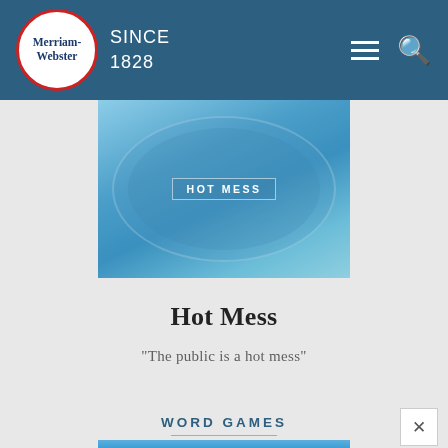Merriam-Webster SINCE 1828
[Figure (photo): Blue-tinted aerial/overhead photo of a pool or hot tub with people, overlaid with 'HOT MESS' label in white text with border]
Hot Mess
"The public is a hot mess"
WORD GAMES
[Figure (photo): Blue sky background with a person wearing a white hat, partially visible at bottom of page]